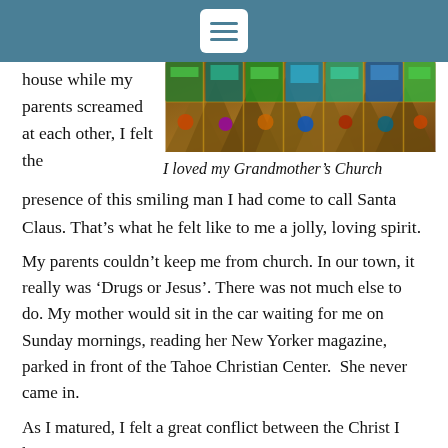house while my parents screamed at each other, I felt the
[Figure (photo): Interior photo of a church with colorful stained glass windows viewed from below, showing geometric patterns and vivid colors including green, blue, and gold]
I loved my Grandmother's Church
presence of this smiling man I had come to call Santa Claus. That’s what he felt like to me a jolly, loving spirit.
My parents couldn’t keep me from church. In our town, it really was ‘Drugs or Jesus’. There was not much else to do. My mother would sit in the car waiting for me on Sunday mornings, reading her New Yorker magazine, parked in front of the Tahoe Christian Center.  She never came in.
As I matured, I felt a great conflict between the Christ I knew